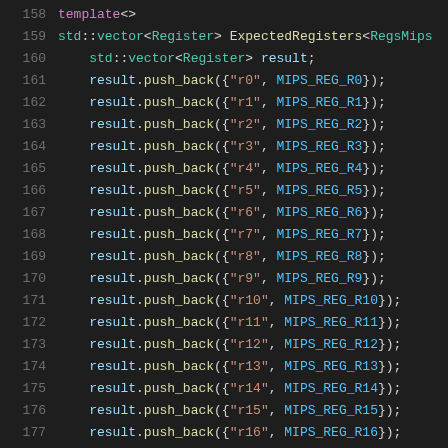158   template<>
159   std::vector<Register> ExpectedRegisters<RegsMips
160     std::vector<Register> result;
161     result.push_back({"r0", MIPS_REG_R0});
162     result.push_back({"r1", MIPS_REG_R1});
163     result.push_back({"r2", MIPS_REG_R2});
164     result.push_back({"r3", MIPS_REG_R3});
165     result.push_back({"r4", MIPS_REG_R4});
166     result.push_back({"r5", MIPS_REG_R5});
167     result.push_back({"r6", MIPS_REG_R6});
168     result.push_back({"r7", MIPS_REG_R7});
169     result.push_back({"r8", MIPS_REG_R8});
170     result.push_back({"r9", MIPS_REG_R9});
171     result.push_back({"r10", MIPS_REG_R10});
172     result.push_back({"r11", MIPS_REG_R11});
173     result.push_back({"r12", MIPS_REG_R12});
174     result.push_back({"r13", MIPS_REG_R13});
175     result.push_back({"r14", MIPS_REG_R14});
176     result.push_back({"r15", MIPS_REG_R15});
177     result.push_back({"r16", MIPS_REG_R16});
178     result.push_back({"r17", MIPS_REG_R17});
179     result.push_back({"r18", MIPS_REG_R18});